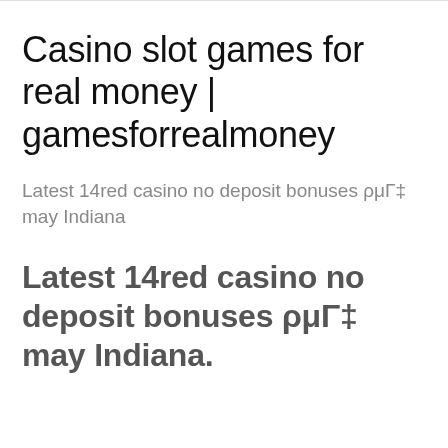Casino slot games for real money | gamesforrealmoney
Latest 14red casino no deposit bonuses ρμΓ‡ may Indiana
Latest 14red casino no deposit bonuses ρμΓ‡ may Indiana.